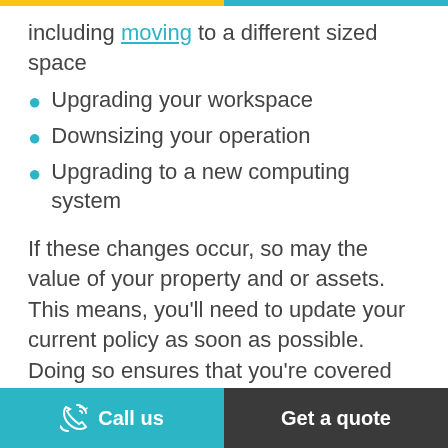including moving to a different sized space
Upgrading your workspace
Downsizing your operation
Upgrading to a new computing system
If these changes occur, so may the value of your property and or assets. This means, you'll need to update your current policy as soon as possible. Doing so ensures that you're covered for the maximum value you need so you don't have to pay for losses out of pocket.
Call us | Get a quote